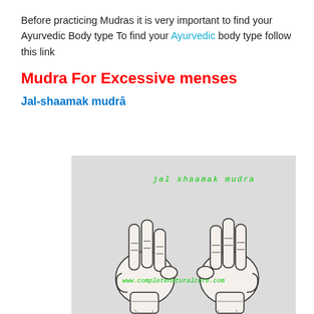Before practicing Mudras it is very important to find your Ayurvedic Body type To find your Ayurvedic body type follow this link
Mudra For Excessive menses
Jal-shaamak mudrā
[Figure (photo): Two hands demonstrating the Jal-shaamak mudra hand gesture — fingers extended upward with thumbs folded over the little finger, shown from the front. Green watermark text reads 'jal shaamak mudra' at top and a website URL at the bottom.]